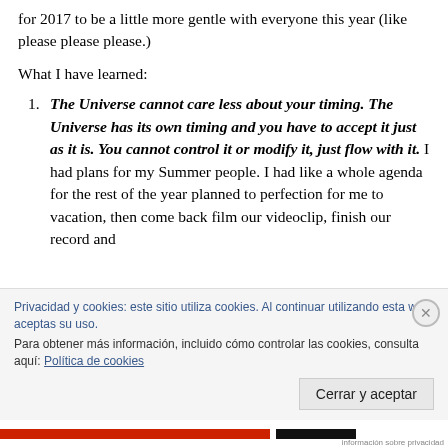for 2017 to be a little more gentle with everyone this year (like please please please.)
What I have learned:
The Universe cannot care less about your timing. The Universe has its own timing and you have to accept it just as it is. You cannot control it or modify it, just flow with it. I had plans for my Summer people. I had like a whole agenda for the rest of the year planned to perfection for me to vacation, then come back film our videoclip, finish our record and
Privacidad y cookies: este sitio utiliza cookies. Al continuar utilizando esta web, aceptas su uso.
Para obtener más información, incluido cómo controlar las cookies, consulta aquí: Política de cookies
Cerrar y aceptar